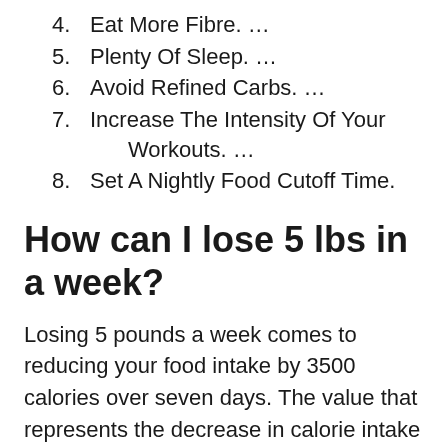4. Eat More Fibre. …
5. Plenty Of Sleep. …
6. Avoid Refined Carbs. …
7. Increase The Intensity Of Your Workouts. …
8. Set A Nightly Food Cutoff Time.
How can I lose 5 lbs in a week?
Losing 5 pounds a week comes to reducing your food intake by 3500 calories over seven days. The value that represents the decrease in calorie intake is known as the calorie deficit. If you want to lose 5 pounds in a week, you will need to reduce your food intake by 17,500 calories, which is a huge